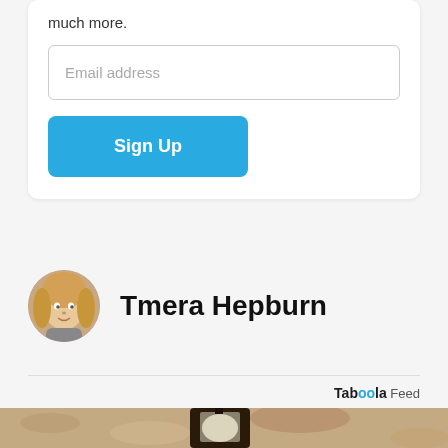much more.
Email address
Sign Up
Tmera Hepburn
Taboola Feed
[Figure (photo): Outdoor wall lantern light fixture mounted on textured stucco wall]